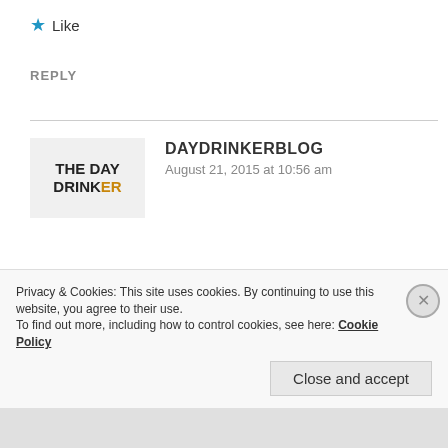★ Like
REPLY
[Figure (logo): The Day Drinker blog logo — bold text reading THE DAY DRINKER with the R in orange]
DAYDRINKERBLOG
August 21, 2015 at 10:56 am
I haven't been to Barclay's yet so it didn't feel right including it without actually experiencing
Privacy & Cookies: This site uses cookies. By continuing to use this website, you agree to their use.
To find out more, including how to control cookies, see here: Cookie Policy
Close and accept